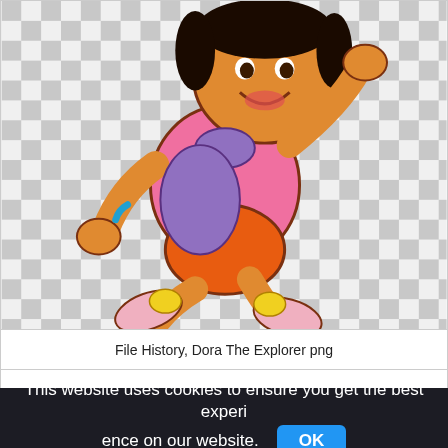[Figure (illustration): Cartoon illustration of Dora the Explorer character jumping/running, wearing pink shirt, orange shorts, purple backpack, and pink and white sneakers with yellow socks. She has a bracelet and is waving. The background is a grey and white checkerboard pattern indicating image transparency.]
File History, Dora The Explorer png
This website uses cookies to ensure you get the best experience on our website.